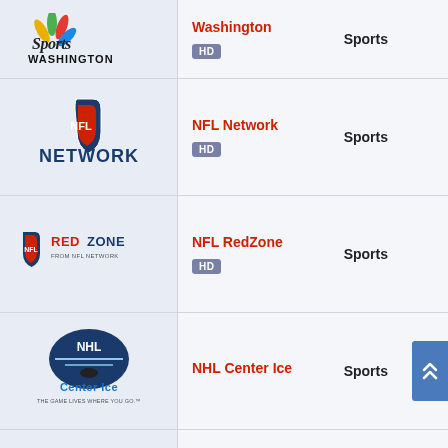[Figure (logo): NBC Sports Washington logo — script 'Sports Washington' with NBC peacock]
Washington
Sports
HD
[Figure (logo): NFL Network logo — shield icon and block 'NETWORK' text]
NFL Network
Sports
HD
[Figure (logo): NFL RedZone from NFL Network logo]
NFL RedZone
Sports
HD
[Figure (logo): NHL Center Ice logo — center ice puck with shield and text]
NHL Center Ice
Sports